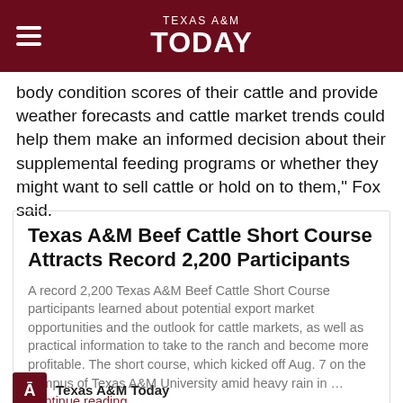TEXAS A&M TODAY
body condition scores of their cattle and provide weather forecasts and cattle market trends could help them make an informed decision about their supplemental feeding programs or whether they might want to sell cattle or hold on to them," Fox said.
Texas A&M Beef Cattle Short Course Attracts Record 2,200 Participants
A record 2,200 Texas A&M Beef Cattle Short Course participants learned about potential export market opportunities and the outlook for cattle markets, as well as practical information to take to the ranch and become more profitable. The short course, which kicked off Aug. 7 on the campus of Texas A&M University amid heavy rain in … Continue reading
Texas A&M Today